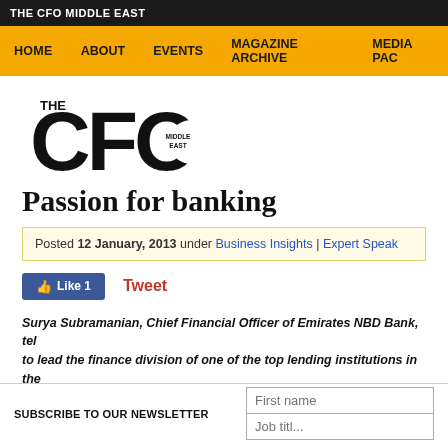THE CFO MIDDLE EAST
HOME | ABOUT | EVENTS | MAGAZINE ARCHIVE | MEDIA PAC...
[Figure (logo): The CFO Middle East logo — large bold CFO letters with 'THE' above and 'MIDDLE EAST' inside the O]
Passion for banking
Posted 12 January, 2013 under Business Insights | Expert Speak
Like 1   Tweet
Surya Subramanian, Chief Financial Officer of Emirates NBD Bank, tel... to lead the finance division of one of the top lending institutions in the...
SUBSCRIBE TO OUR NEWSLETTER
First name